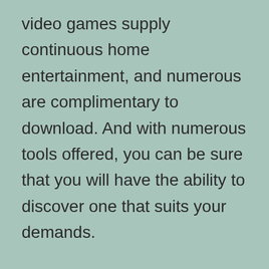video games supply continuous home entertainment, and numerous are complimentary to download. And with numerous tools offered, you can be sure that you will have the ability to discover one that suits your demands.
Symptoms of Internet pc gaming disorder The incidence rates for symptom seriousness of both undefined internet usage disorder and also Internet pc gaming condition are reduced in the PROTECT intervention group contrasted to the control group (Figure 2A as well as 2B). Over the 12-month duration, the PROTECT